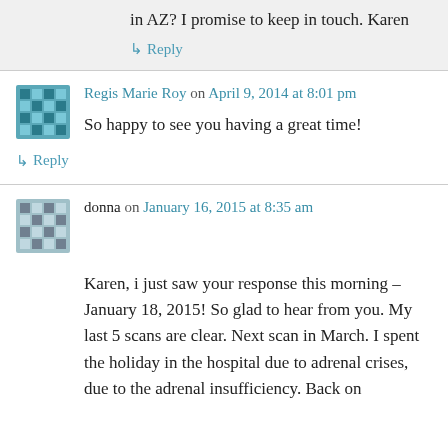in AZ? I promise to keep in touch. Karen
↳ Reply
Regis Marie Roy on April 9, 2014 at 8:01 pm
So happy to see you having a great time!
↳ Reply
donna on January 16, 2015 at 8:35 am
Karen, i just saw your response this morning – January 18, 2015! So glad to hear from you. My last 5 scans are clear. Next scan in March. I spent the holiday in the hospital due to adrenal crises, due to the adrenal insufficiency. Back on